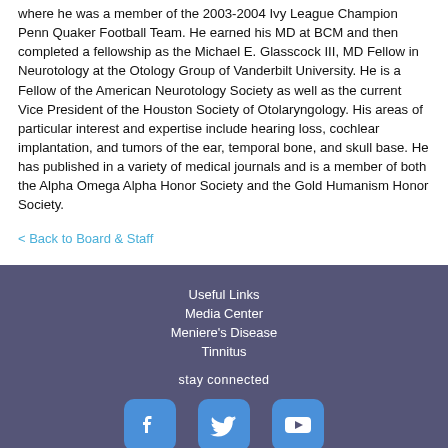where he was a member of the 2003-2004 Ivy League Champion Penn Quaker Football Team. He earned his MD at BCM and then completed a fellowship as the Michael E. Glasscock III, MD Fellow in Neurotology at the Otology Group of Vanderbilt University. He is a Fellow of the American Neurotology Society as well as the current Vice President of the Houston Society of Otolaryngology. His areas of particular interest and expertise include hearing loss, cochlear implantation, and tumors of the ear, temporal bone, and skull base. He has published in a variety of medical journals and is a member of both the Alpha Omega Alpha Honor Society and the Gold Humanism Honor Society.
< Back to Board & Staff
Useful Links
Media Center
Meniere's Disease
Tinnitus
stay connected